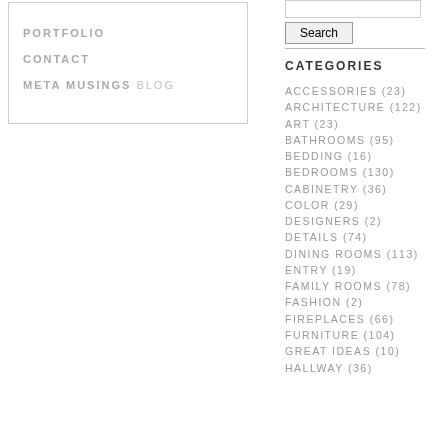PORTFOLIO
CONTACT
META MUSINGS BLOG
CATEGORIES
ACCESSORIES (23)
ARCHITECTURE (122)
ART (23)
BATHROOMS (95)
BEDDING (16)
BEDROOMS (130)
CABINETRY (36)
COLOR (29)
DESIGNERS (2)
DETAILS (74)
DINING ROOMS (113)
ENTRY (19)
FAMILY ROOMS (78)
FASHION (2)
FIREPLACES (66)
FURNITURE (104)
GREAT IDEAS (10)
HALLWAY (36)